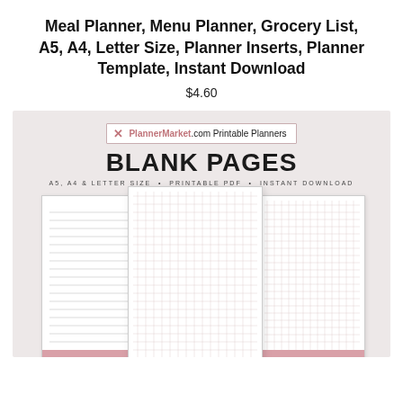Meal Planner, Menu Planner, Grocery List, A5, A4, Letter Size, Planner Inserts, Planner Template, Instant Download
$4.60
[Figure (photo): Product mockup image showing blank planner pages (lined and grid) with PlannerMarket.com branding, on a pink background. Pages show 'BLANK PAGES' title with subtitle 'A5, A4 & LETTER SIZE • PRINTABLE PDF • INSTANT DOWNLOAD'. Three page mockups shown: left (lined), center (grid, tallest), right (grid).]